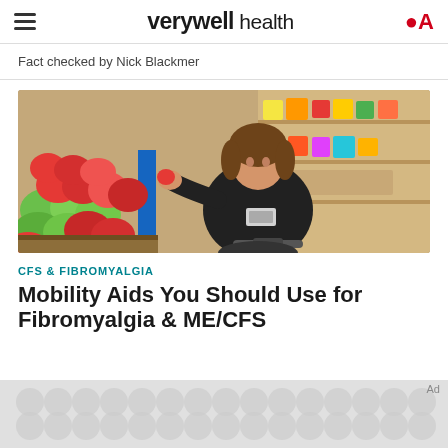verywell health
Fact checked by Nick Blackmer
[Figure (photo): Woman in black jacket using a mobility scooter in a grocery store, reaching for apples among colorful produce displays]
CFS & FIBROMYALGIA
Mobility Aids You Should Use for Fibromyalgia & ME/CFS